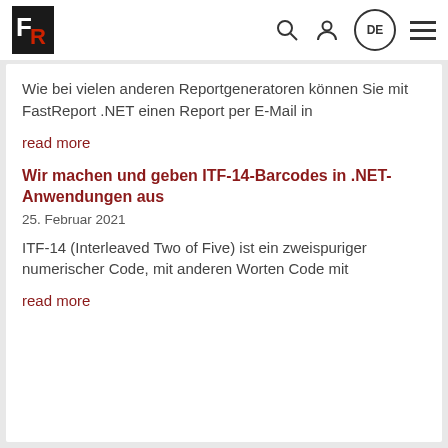FR logo | Search | User | DE | Menu
Wie bei vielen anderen Reportgeneratoren können Sie mit FastReport .NET einen Report per E-Mail in
read more
Wir machen und geben ITF-14-Barcodes in .NET-Anwendungen aus
25. Februar 2021
ITF-14 (Interleaved Two of Five) ist ein zweispuriger numerischer Code, mit anderen Worten Code mit
read more